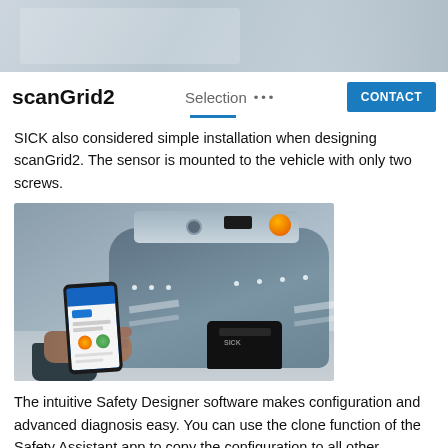[Figure (photo): Top banner photo showing an industrial/warehouse environment with blurred background]
scanGrid2
Selection
CONTACT
SICK also considered simple installation when designing scanGrid2. The sensor is mounted to the vehicle with only two screws.
[Figure (photo): Photo of a person holding a smartphone near the scanGrid2 sensor mounted on an AGV (automated guided vehicle). The sensor is shown on the front bumper of a blue robot vehicle, and the phone displays the Safety Assistant app.]
The intuitive Safety Designer software makes configuration and advanced diagnosis easy. You can use the clone function of the Safety Assistant app to copy the configuration to all other devices. Diagnostic data can also be read out quickly and